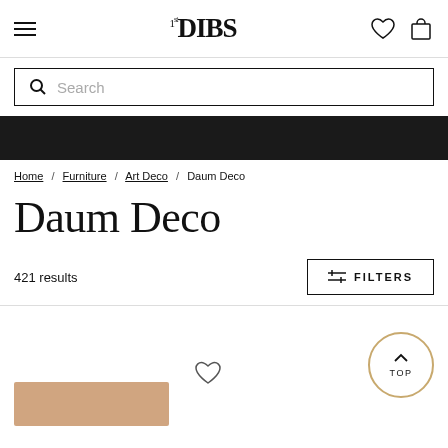1stDIBS navigation header with hamburger menu, logo, heart and cart icons
Search
[Figure (screenshot): Dark banner navigation area]
Home / Furniture / Art Deco / Daum Deco
Daum Deco
421 results
FILTERS
[Figure (screenshot): Product listing area with heart icon and TOP back-to-top button, partially visible furniture product image]